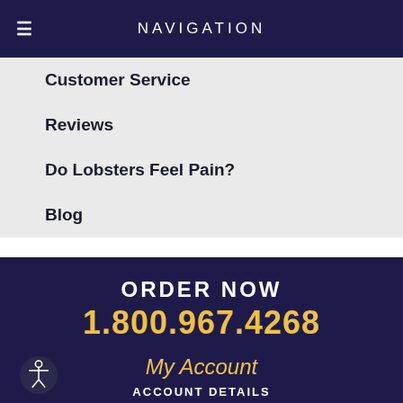NAVIGATION
Customer Service
Reviews
Do Lobsters Feel Pain?
Blog
ORDER NOW
1.800.967.4268
My Account
ACCOUNT DETAILS